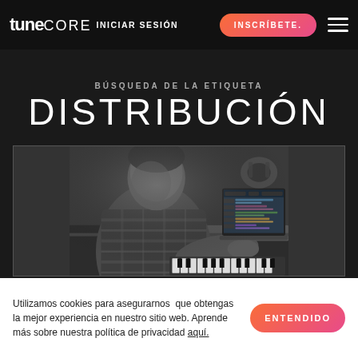tunecore INICIAR SESIÓN INSCRÍBETE.
BÚSQUEDA DE LA ETIQUETA
DISTRIBUCIÓN
[Figure (photo): Black and white photo of a person sitting at a desk working on a laptop with a MIDI keyboard controller, in a music studio setting. A pair of headphones is visible in the background.]
Utilizamos cookies para asegurarnos  que obtengas la mejor experiencia en nuestro sitio web. Aprende más sobre nuestra política de privacidad aquí.